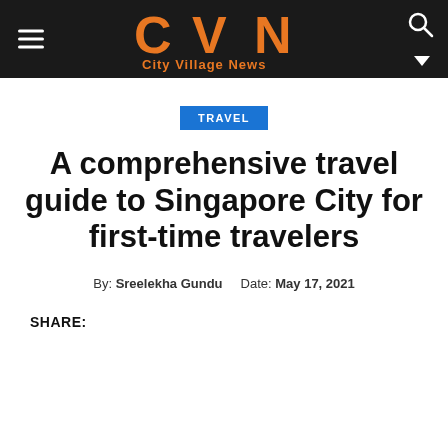City Village News
TRAVEL
A comprehensive travel guide to Singapore City for first-time travelers
By: Sreelekha Gundu   Date: May 17, 2021
SHARE: